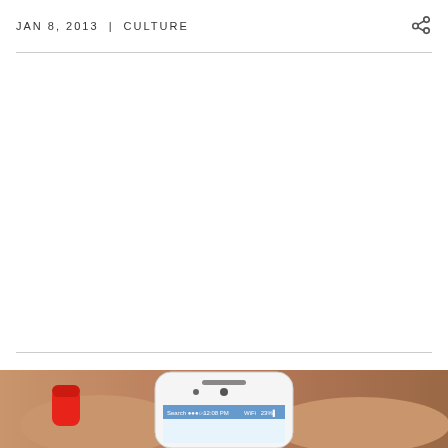JAN 8, 2013  |  CULTURE
[Figure (photo): A hand with red-painted fingernails holding a white iPhone 5, showing the top portion of the device including speaker, camera, and the lock screen with a status bar showing 'Search', signal bars, WiFi, time 12:08 PM, and 23% battery. Background appears warm/brownish tones suggesting hair or warm-toned background.]